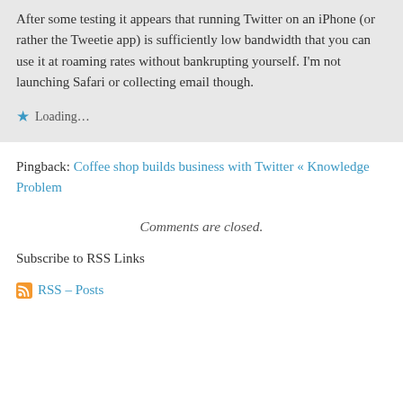After some testing it appears that running Twitter on an iPhone (or rather the Tweetie app) is sufficiently low bandwidth that you can use it at roaming rates without bankrupting yourself. I'm not launching Safari or collecting email though.
★ Loading...
Pingback: Coffee shop builds business with Twitter « Knowledge Problem
Comments are closed.
Subscribe to RSS Links
RSS – Posts